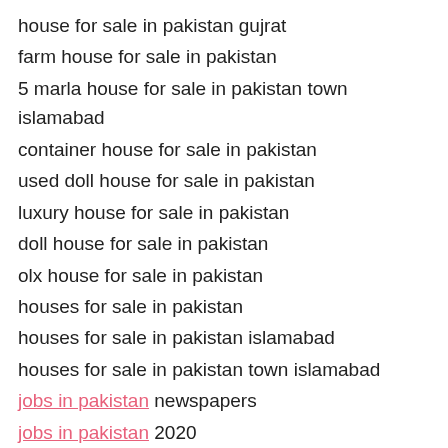house for sale in pakistan gujrat
farm house for sale in pakistan
5 marla house for sale in pakistan town islamabad
container house for sale in pakistan
used doll house for sale in pakistan
luxury house for sale in pakistan
doll house for sale in pakistan
olx house for sale in pakistan
houses for sale in pakistan
houses for sale in pakistan islamabad
houses for sale in pakistan town islamabad
jobs in pakistan newspapers
jobs in pakistan 2020
jobs in pakistan army
jobs in pakistan navy
jobs in pakistan air force